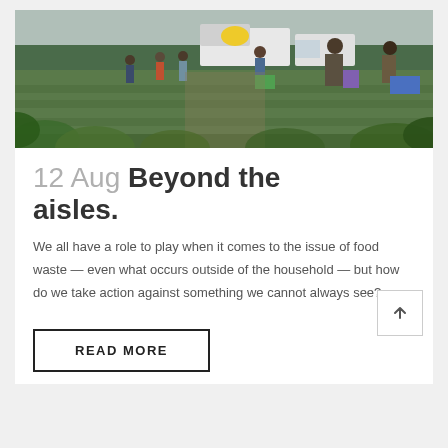[Figure (photo): People working in a field harvesting crops, with a truck and van visible in the background. Multiple individuals carrying crates of vegetables on a cloudy day.]
12 Aug Beyond the aisles.
We all have a role to play when it comes to the issue of food waste — even what occurs outside of the household — but how do we take action against something we cannot always see?
READ MORE